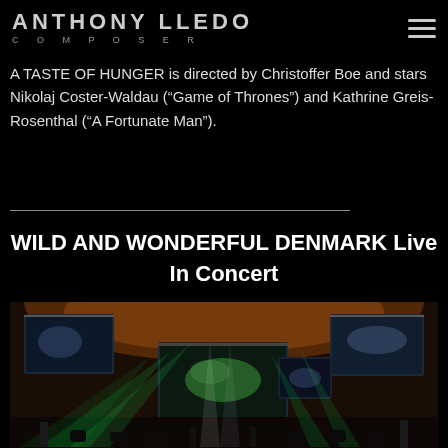ANTHONY LLEDO COMPOSER
A TASTE OF HUNGER is directed by Christoffer Boe and stars Nikolaj Coster-Waldau (“Game of Thrones”) and Kathrine Greis-Rosenthal (“A Fortunate Man”).
WILD AND WONDERFUL DENMARK Live In Concert
[Figure (photo): Concert stage with green and white spotlights, large projection screens showing nature imagery, and an orchestra performing in a darkened venue with warm amber ceiling lighting.]